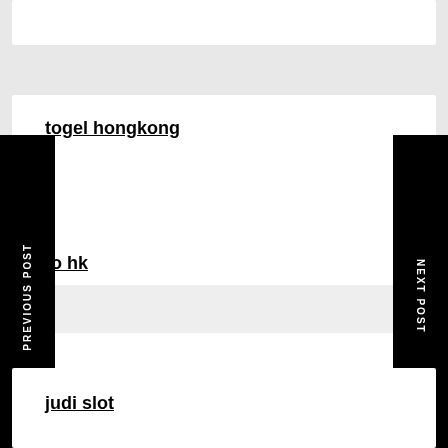togel hongkong
PREVIOUS POST
NEXT POST
to hk
judi slot